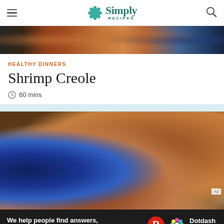Simply Recipes
[Figure (photo): Top cropped food photo showing shrimp creole dish in a dark bowl with rice]
HEALTHY DINNERS
Shrimp Creole
60 mins
[Figure (photo): Main food photo showing shrimp creole served over white rice on plates with garnish, close-up view]
Ad
We help people find answers, solve problems and get inspired. Dotdash meredith